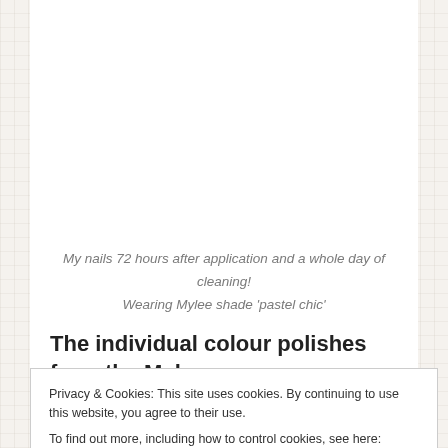My nails 72 hours after application and a whole day of cleaning! Wearing Mylee shade 'pastel chic'
The individual colour polishes from the Mylee
Privacy & Cookies: This site uses cookies. By continuing to use this website, you agree to their use.
To find out more, including how to control cookies, see here: Cookie Policy
Close and accept